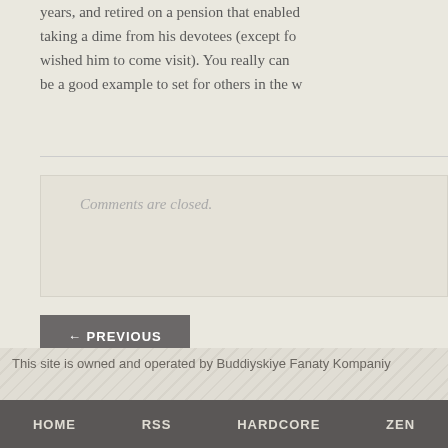years, and retired on a pension that enabled taking a dime from his devotees (except fo wished him to come visit). You really can be a good example to set for others in the w
Comments are closed.
← PREVIOUS
This site is owned and operated by Buddiyskiye Fanaty Kompaniy
HOME   RSS   HARDCORE   ZEN